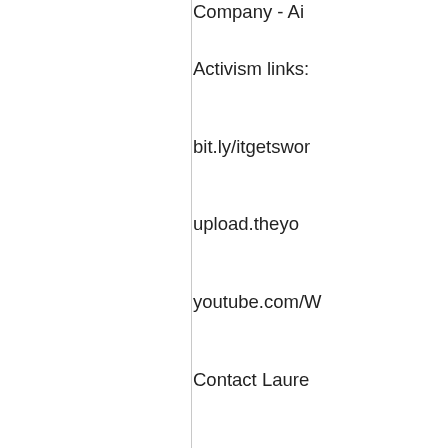Company - Ai...
Activism links:
bit.ly/itgetswor...
upload.theyo...
youtube.com/W...
Contact Lauren...
Lauren [at] Be...
Voicemails:
Thoughts on m...
Leave a messa...
Voicemail Mus...
Loud Pipes - R...
Final comment...
How Do Conse...
How Do A...